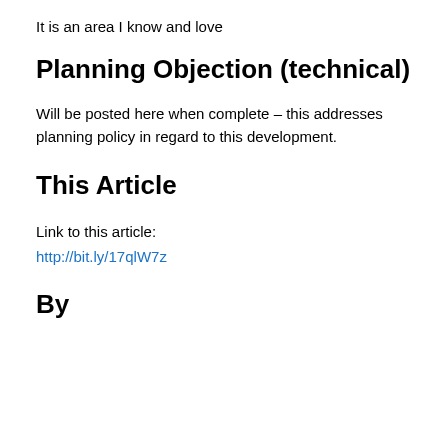It is an area I know and love
Planning Objection (technical)
Will be posted here when complete – this addresses planning policy in regard to this development.
This Article
Link to this article:
http://bit.ly/17qlW7z
By